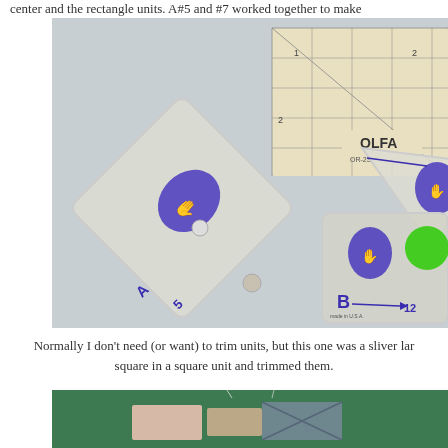center and the rectangle units. A#5 and #7 worked together to make
[Figure (photo): Quilting/sewing acrylic template pieces labeled A5, A7, and B12, along with an OLFA quilting ruler on a light gray surface. The templates are clear plastic with blue text and logos.]
Normally I don't need (or want) to trim units, but this one was a sliver larger. I used the square in a square unit and trimmed them.
[Figure (photo): Quilting fabric pieces on a green cutting mat surface, showing fabric squares/rectangles being prepared.]